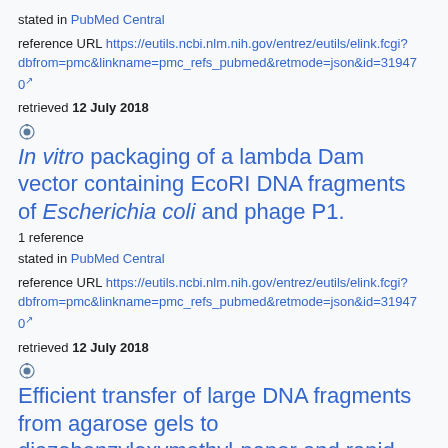stated in PubMed Central
reference URL https://eutils.ncbi.nlm.nih.gov/entrez/eutils/elink.fcgi?dbfrom=pmc&linkname=pmc_refs_pubmed&retmode=json&id=319470
retrieved 12 July 2018
In vitro packaging of a lambda Dam vector containing EcoRI DNA fragments of Escherichia coli and phage P1.
1 reference
stated in PubMed Central
reference URL https://eutils.ncbi.nlm.nih.gov/entrez/eutils/elink.fcgi?dbfrom=pmc&linkname=pmc_refs_pubmed&retmode=json&id=319470
retrieved 12 July 2018
Efficient transfer of large DNA fragments from agarose gels to diazobenzyloxymethyl-paper and rapid hybridization by using dextran sulfate